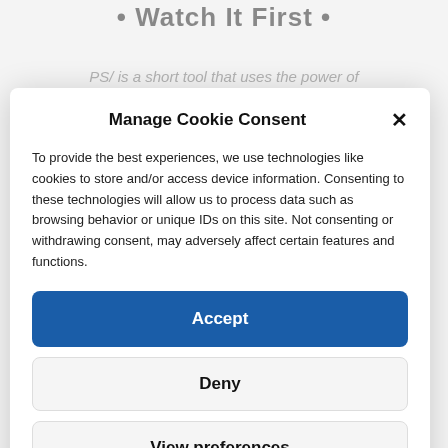• Watch It First •
PS/ is a short tool that uses the power of
Manage Cookie Consent
To provide the best experiences, we use technologies like cookies to store and/or access device information. Consenting to these technologies will allow us to process data such as browsing behavior or unique IDs on this site. Not consenting or withdrawing consent, may adversely affect certain features and functions.
Accept
Deny
View preferences
Cookie Policy   Privacy Policy